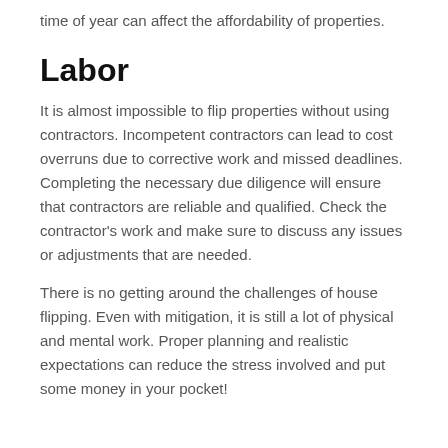time of year can affect the affordability of properties.
Labor
It is almost impossible to flip properties without using contractors. Incompetent contractors can lead to cost overruns due to corrective work and missed deadlines. Completing the necessary due diligence will ensure that contractors are reliable and qualified. Check the contractor's work and make sure to discuss any issues or adjustments that are needed.
There is no getting around the challenges of house flipping. Even with mitigation, it is still a lot of physical and mental work. Proper planning and realistic expectations can reduce the stress involved and put some money in your pocket!